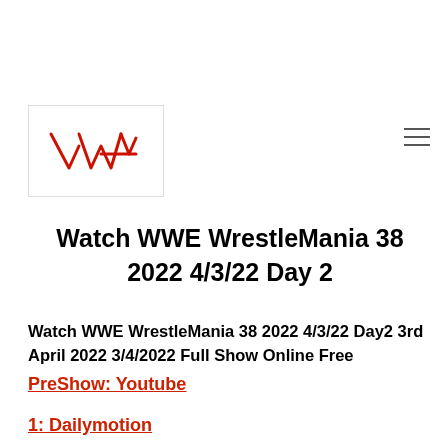[Figure (logo): Red handwritten/scribbly WWE-style logo mark on white background with border]
Watch WWE WrestleMania 38 2022 4/3/22 Day 2
Watch WWE WrestleMania 38 2022 4/3/22 Day2 3rd April 2022 3/4/2022 Full Show Online Free
PreShow: Youtube
1: Dailymotion